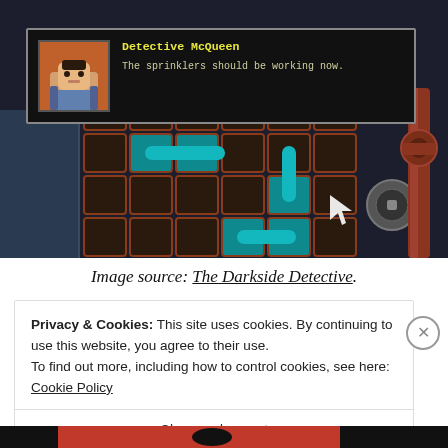[Figure (screenshot): Screenshot from the video game 'The Darkside Detective' showing a pixel-art pipe puzzle with cyan/teal water flowing through dark pipes, and a dialog box with Detective McQueen saying 'The sprinklers should be working now.']
Image source: The Darkside Detective.
Privacy & Cookies: This site uses cookies. By continuing to use this website, you agree to their use.
To find out more, including how to control cookies, see here: Cookie Policy
Close and accept